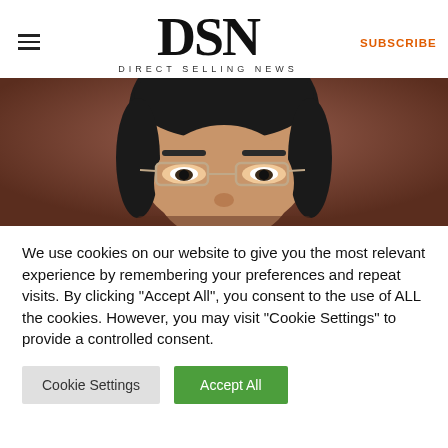DSN — DIRECT SELLING NEWS — SUBSCRIBE
[Figure (photo): Close-up headshot of an Asian man wearing glasses, cropped to show eyes and top of head, against a warm brown background]
We use cookies on our website to give you the most relevant experience by remembering your preferences and repeat visits. By clicking "Accept All", you consent to the use of ALL the cookies. However, you may visit "Cookie Settings" to provide a controlled consent.
Cookie Settings | Accept All